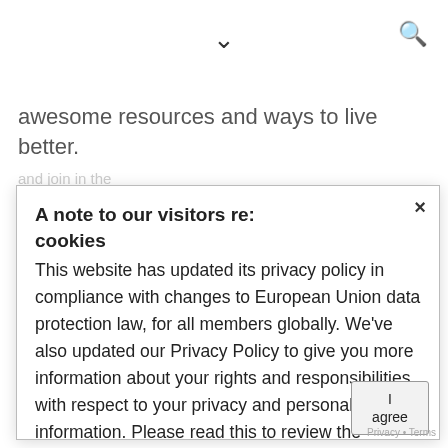✓  🔍
awesome resources and ways to live better.
A note to our visitors re: cookies
This website has updated its privacy policy in compliance with changes to European Union data protection law, for all members globally. We've also updated our Privacy Policy to give you more information about your rights and responsibilities with respect to your privacy and personal information. Please read this to review the updates about which cookies we use and what information we collect on our site. By continuing to use this site, you are agreeing to our updated privacy policy.